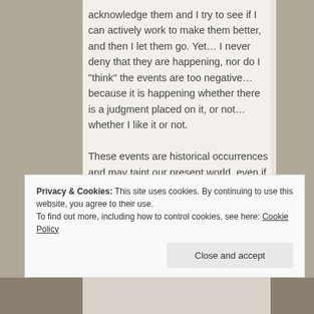acknowledge them and I try to see if I can actively work to make them better, and then I let them go. Yet… I never deny that they are happening, nor do I “think” the events are too negative… because it is happening whether there is a judgment placed on it, or not… whether I like it or not.

These events are historical occurrences and may taint our present world, even if they are beyond our control, but we would
Privacy & Cookies: This site uses cookies. By continuing to use this website, you agree to their use.
To find out more, including how to control cookies, see here: Cookie Policy
Close and accept